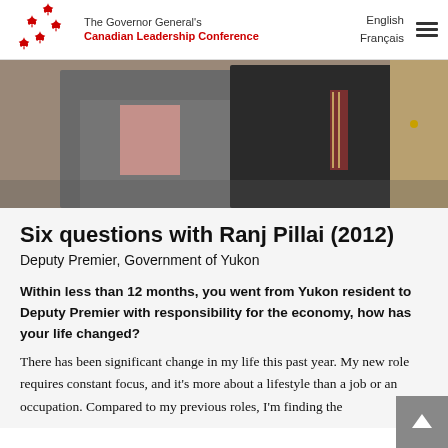The Governor General's Canadian Leadership Conference | English | Français
[Figure (photo): Two people in formal business attire shaking hands or meeting indoors, one wearing a striped tie.]
Six questions with Ranj Pillai (2012)
Deputy Premier, Government of Yukon
Within less than 12 months, you went from Yukon resident to Deputy Premier with responsibility for the economy, how has your life changed?
There has been significant change in my life this past year. My new role requires constant focus, and it's more about a lifestyle than a job or an occupation. Compared to my previous roles, I'm finding the